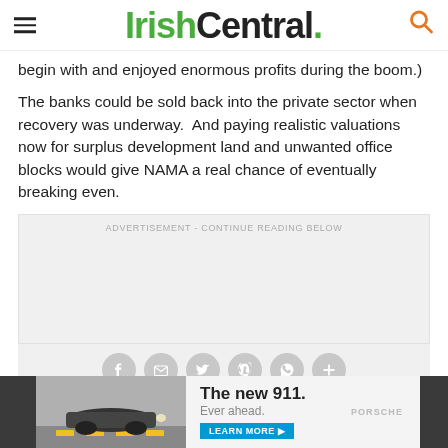IrishCentral.
begin with and enjoyed enormous profits during the boom.)
The banks could be sold back into the private sector when recovery was underway.  And paying realistic valuations now for surplus development land and unwanted office blocks would give NAMA a real chance of eventually breaking even.
[Figure (other): Advertisement placeholder block with social sharing icons (Facebook, email, Twitter, Pinterest, WhatsApp, plus) in grey circles below]
[Figure (photo): Bottom banner advertisement for Porsche new 911 with car photo on left, text 'The new 911. Ever ahead.' and LEARN MORE button, Porsche logo on right]